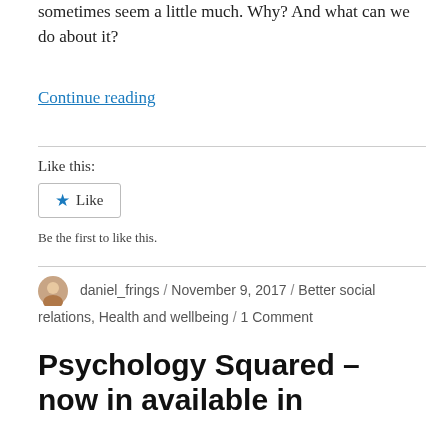sometimes seem a little much. Why? And what can we do about it?
Continue reading
Like this:
Like
Be the first to like this.
daniel_frings / November 9, 2017 / Better social relations, Health and wellbeing / 1 Comment
Psychology Squared – now in available in